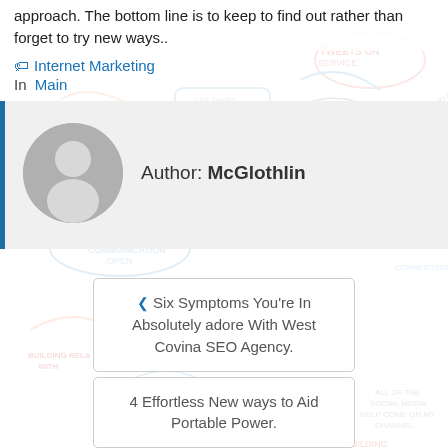approach. The bottom line is to keep to find out rather than forget to try new ways..
🏷 Internet Marketing
In Main
Author: McGlothlin
‹ Six Symptoms You're In Absolutely adore With West Covina SEO Agency.
4 Effortless New ways to Aid Portable Power.